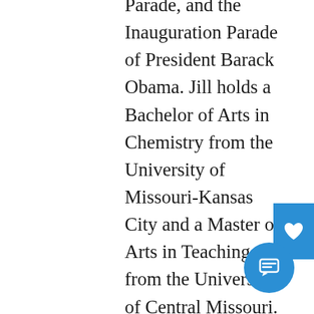Parade, and the Inauguration Parade of President Barack Obama. Jill holds a Bachelor of Arts in Chemistry from the University of Missouri-Kansas City and a Master of Arts in Teaching from the University of Central Missouri. During the day, Jill teaches Honors and Theoretical Chemistry at Liberty High School. After school, you can find her serving as the Battery Instructor at LHS. Jill is proud to have worked with many area high school drumlines, most recently with Odessa High School and their award winning indoor percussion program. She is also proud to have performed with the UMKC Conservatory of Music Wind Ensemble